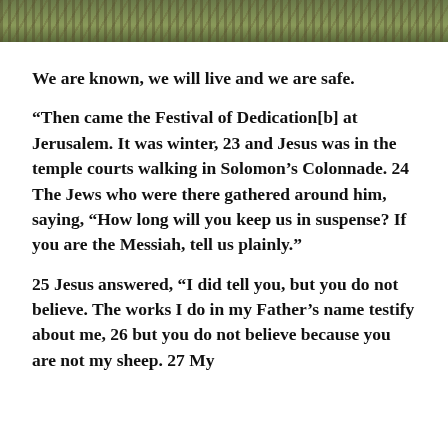[Figure (photo): Outdoor landscape photo strip showing rocky or grassy terrain, appearing at the top of the page.]
We are known, we will live and we are safe.
“Then came the Festival of Dedication[b] at Jerusalem. It was winter, 23 and Jesus was in the temple courts walking in Solomon’s Colonnade. 24 The Jews who were there gathered around him, saying, “How long will you keep us in suspense? If you are the Messiah, tell us plainly.”
25 Jesus answered, “I did tell you, but you do not believe. The works I do in my Father’s name testify about me, 26 but you do not believe because you are not my sheep. 27 My